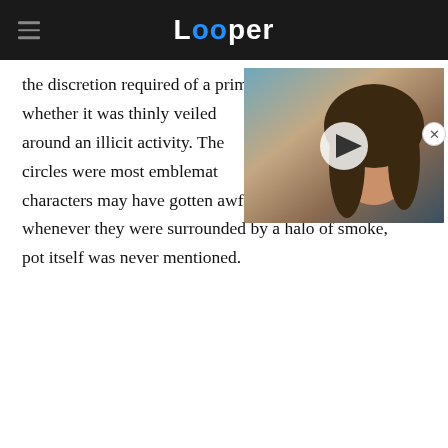Looper
[Figure (screenshot): Video thumbnail showing a young man with long dark hair at a beach, with a play button overlay]
the discretion required of a primetime series whether it was thinly veiled around an illicit activity. The circles were most emblematic characters may have gotten awfully peckish whenever they were surrounded by a halo of smoke, pot itself was never mentioned.